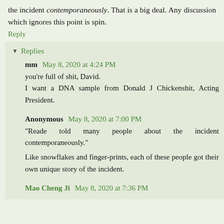the incident contemporaneously. That is a big deal. Any discussion which ignores this point is spin.
Reply
Replies
mm May 8, 2020 at 4:24 PM
you're full of shit, David.
I want a DNA sample from Donald J Chickenshit, Acting President.
Anonymous May 8, 2020 at 7:00 PM
"Reade told many people about the incident contemporaneously."
Like snowflakes and finger-prints, each of these people got their own unique story of the incident.
Mao Cheng Ji May 8, 2020 at 7:36 PM